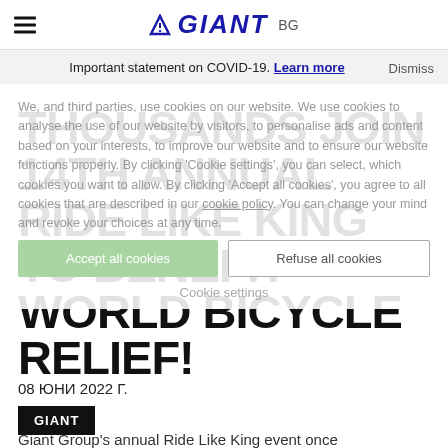≡  GIANT  BG
Important statement on COVID-19. Learn more  Dismiss
We, and third parties, use cookies on our website. We use cookies to analyse the use of our website by visitors, to personalise ads and content based on your interests, to improve our website and to ensure our website functions properly. By clicking 'Cookie settings', you can select, which cookies you want to allow. By clicking 'Accept all cookies', you agree to all cookies that are described in our cookie policy. You can change your mind and revoke your choices at any time.
THOUSANDS JOIN 14TH ANNUAL RIDE LIKE KING TO BENEFIT WORLD BICYCLE RELIEF!
08 ЮНИ 2022 Г.
GIANT
Giant Group's annual Ride Like King event once